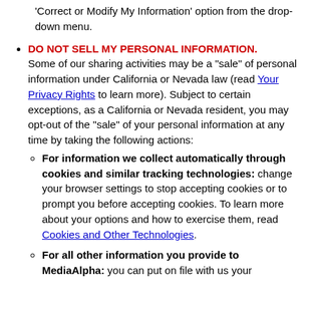'Correct or Modify My Information' option from the drop-down menu.
DO NOT SELL MY PERSONAL INFORMATION. Some of our sharing activities may be a "sale" of personal information under California or Nevada law (read Your Privacy Rights to learn more). Subject to certain exceptions, as a California or Nevada resident, you may opt-out of the "sale" of your personal information at any time by taking the following actions:
For information we collect automatically through cookies and similar tracking technologies: change your browser settings to stop accepting cookies or to prompt you before accepting cookies. To learn more about your options and how to exercise them, read Cookies and Other Technologies.
For all other information you provide to MediaAlpha: you can put on file with us your ...